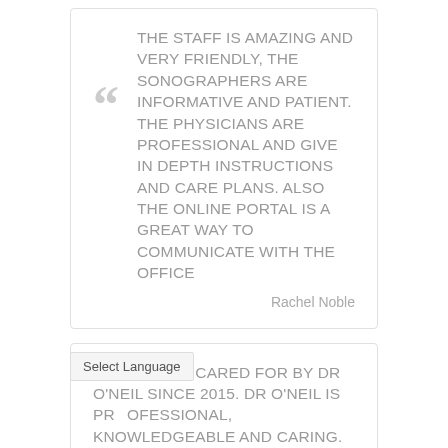THE STAFF IS AMAZING AND VERY FRIENDLY, THE SONOGRAPHERS ARE INFORMATIVE AND PATIENT. THE PHYSICIANS ARE PROFESSIONAL AND GIVE IN DEPTH INSTRUCTIONS AND CARE PLANS. ALSO THE ONLINE PORTAL IS A GREAT WAY TO COMMUNICATE WITH THE OFFICE
Rachel Noble
I HAVE BEEN CARED FOR BY DR O'NEIL SINCE 2015. DR O'NEIL IS PROFESSIONAL, KNOWLEDGEABLE AND CARING. I'M VERY HAPPY TO